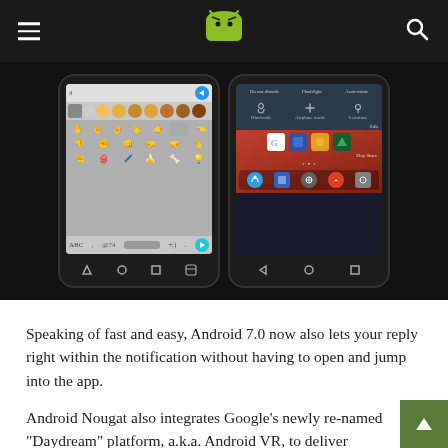AndroidPIT header with hamburger menu, logo, and search icon
[Figure (screenshot): Two Android smartphones side by side. Left phone shows an emoji keyboard in a messaging app with emoji skin tone selector. Right phone shows Android quick settings panel (Bluetooth, Airplane mode, Location) and home screen with app icons including Google, Play Store, Chrome, and dock icons.]
Speaking of fast and easy, Android 7.0 now also lets your reply right within the notification without having to open and jump into the app.
Android Nougat also integrates Google’s newly re-named “Daydream” platform, a.k.a. Android VR, to deliver